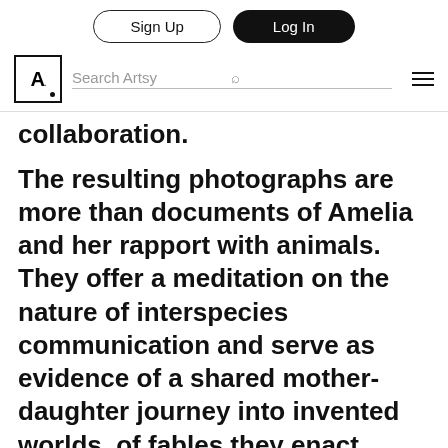Sign Up | Log In | Search Artsy
collaboration.
The resulting photographs are more than documents of Amelia and her rapport with animals. They offer a meditation on the nature of interspecies communication and serve as evidence of a shared mother-daughter journey into invented worlds, of fables they enact together.
If this Kickstarter campaign is successful, in fall 2014 the New York-based photography